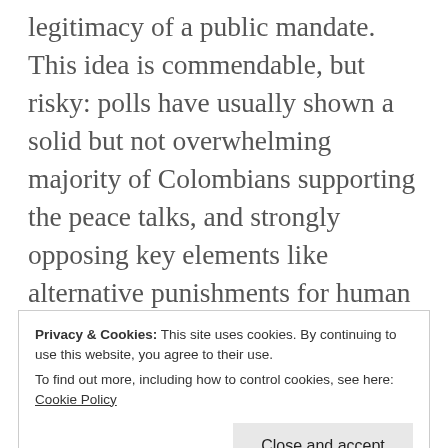legitimacy of a public mandate. This idea is commendable, but risky: polls have usually shown a solid but not overwhelming majority of Colombians supporting the peace talks, and strongly opposing key elements like alternative punishments for human rights abusers, or allowing former guerrillas to participate in politics. The possibility that a “No” vote could undo the entire peace effort is too great to be dismissed.
Privacy & Cookies: This site uses cookies. By continuing to use this website, you agree to their use. To find out more, including how to control cookies, see here: Cookie Policy
Close and accept
principle in May. It received a formal green